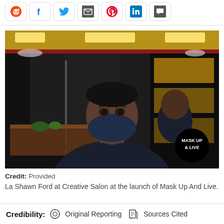[Figure (photo): Man wearing a dark blue face mask standing in a salon/barbershop with yellow and dark decor. A circular black badge in the lower right reads 'MASK UP & LIVE'.]
Credit: Provided
La Shawn Ford at Creative Salon at the launch of Mask Up And Live.
Credibility: Original Reporting  Sources Cited